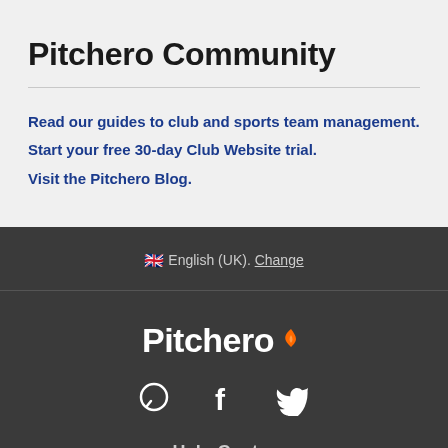Pitchero Community
Read our guides to club and sports team management.
Start your free 30-day Club Website trial.
Visit the Pitchero Blog.
🇬🇧 English (UK). Change
[Figure (logo): Pitchero logo in white text with orange flame/swoosh icon on dark background]
[Figure (other): Social media icons: speech bubble (chat), Facebook f, Twitter bird]
Help Centre